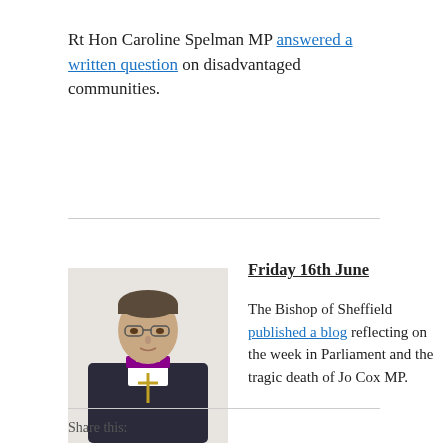Rt Hon Caroline Spelman MP answered a written question on disadvantaged communities.
Friday 16th June
[Figure (photo): Photograph of the Bishop of Sheffield, a man in bishop's vestments including a pectoral cross, wearing glasses, in a dark jacket with purple clerical collar.]
The Bishop of Sheffield published a blog reflecting on the week in Parliament and the tragic death of Jo Cox MP.
Share this: